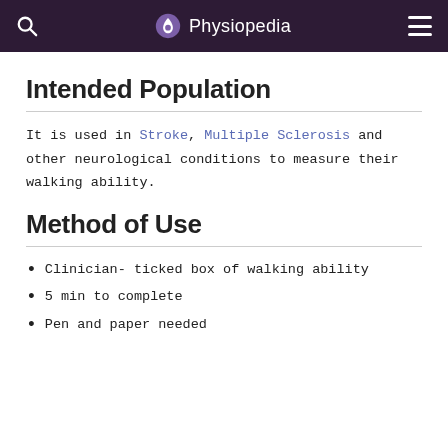Physiopedia
Intended Population
It is used in Stroke, Multiple Sclerosis and other neurological conditions to measure their walking ability.
Method of Use
Clinician- ticked box of walking ability
5 min to complete
Pen and paper needed